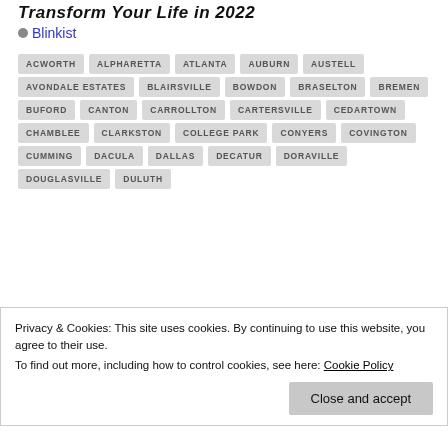Transform Your Life in 2022
Blinkist
ACWORTH
ALPHARETTA
ATLANTA
AUBURN
AUSTELL
AVONDALE ESTATES
BLAIRSVILLE
BOWDON
BRASELTON
BREMEN
BUFORD
CANTON
CARROLLTON
CARTERSVILLE
CEDARTOWN
CHAMBLEE
CLARKSTON
COLLEGE PARK
CONYERS
COVINGTON
CUMMING
DACULA
DALLAS
DECATUR
DORAVILLE
DOUGLASVILLE
DULUTH
Privacy & Cookies: This site uses cookies. By continuing to use this website, you agree to their use.
To find out more, including how to control cookies, see here: Cookie Policy
Close and accept